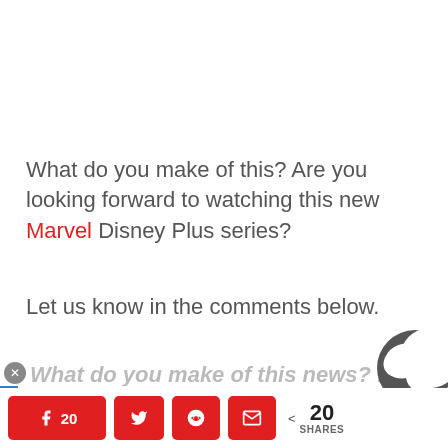What do you make of this? Are you looking forward to watching this new Marvel Disney Plus series?
Let us know in the comments below.
What do you make of this news? Le...
AI Advertising
20 [Facebook] [Twitter] [Reddit] [Email] < 20 SHARES